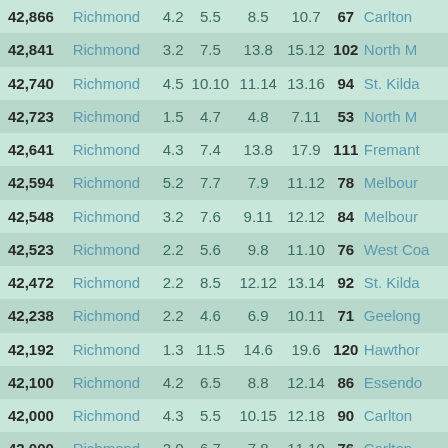| Attendance | Team | Q1 | Q2 | Q3 | Q4 | Score | Opponent |
| --- | --- | --- | --- | --- | --- | --- | --- |
| 42,866 | Richmond | 4.2 | 5.5 | 8.5 | 10.7 | 67 | Carlton |
| 42,841 | Richmond | 3.2 | 7.5 | 13.8 | 15.12 | 102 | North M |
| 42,740 | Richmond | 4.5 | 10.10 | 11.14 | 13.16 | 94 | St. Kilda |
| 42,723 | Richmond | 1.5 | 4.7 | 4.8 | 7.11 | 53 | North M |
| 42,641 | Richmond | 4.3 | 7.4 | 13.8 | 17.9 | 111 | Fremant |
| 42,594 | Richmond | 5.2 | 7.7 | 7.9 | 11.12 | 78 | Melbour |
| 42,548 | Richmond | 3.2 | 7.6 | 9.11 | 12.12 | 84 | Melbour |
| 42,523 | Richmond | 2.2 | 5.6 | 9.8 | 11.10 | 76 | West Coa |
| 42,472 | Richmond | 2.2 | 8.5 | 12.12 | 13.14 | 92 | St. Kilda |
| 42,238 | Richmond | 2.2 | 4.6 | 6.9 | 10.11 | 71 | Geelong |
| 42,192 | Richmond | 1.3 | 11.5 | 14.6 | 19.6 | 120 | Hawthor |
| 42,100 | Richmond | 4.2 | 6.5 | 8.8 | 12.14 | 86 | Essendo |
| 42,000 | Richmond | 4.3 | 5.5 | 10.15 | 12.18 | 90 | Carlton |
| 42,000 | Richmond | 2.0 | 6.7 | 7.8 | 11.10 | 76 | Carlton |
| 42,000 | Richmond | 0.5 | 3.8 | 6.11 | 6.12 | 48 | Carlton |
| 41,945 | Richmond | 1.2 | 2.6 | 7.9 | 11.10 | 76 | Collingw |